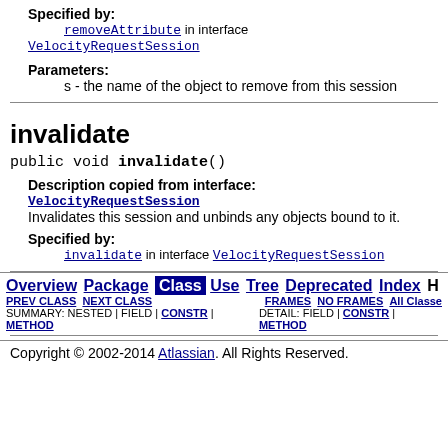Specified by: removeAttribute in interface VelocityRequestSession
Parameters: s - the name of the object to remove from this session
invalidate
public void invalidate()
Description copied from interface: VelocityRequestSession Invalidates this session and unbinds any objects bound to it.
Specified by: invalidate in interface VelocityRequestSession
Overview Package Class Use Tree Deprecated Index H | PREV CLASS NEXT CLASS FRAMES NO FRAMES All Classes | SUMMARY: NESTED | FIELD | CONSTR | METHOD   DETAIL: FIELD | CONSTR | METHOD
Copyright © 2002-2014 Atlassian. All Rights Reserved.